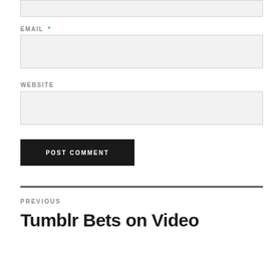(input box — top, partial)
EMAIL *
(email input box)
WEBSITE
(website input box)
POST COMMENT
PREVIOUS
Tumblr Bets on Video